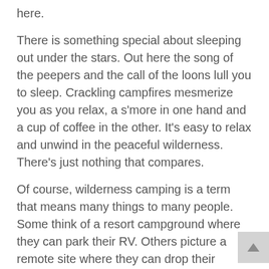here.
There is something special about sleeping out under the stars. Out here the song of the peepers and the call of the loons lull you to sleep. Crackling campfires mesmerize you as you relax, a s'more in one hand and a cup of coffee in the other. It's easy to relax and unwind in the peaceful wilderness. There's just nothing that compares.
Of course, wilderness camping is a term that means many things to many people. Some think of a resort campground where they can park their RV. Others picture a remote site where they can drop their backpack and pitch a tent. Still others imagine a sporting camp, where they can enjoy a week by a lake in an old cabin. Piscataquis offers the best of all these worlds.
Here, in the heart of Maine, you'll find many campgrounds to make your outdoor dreams a